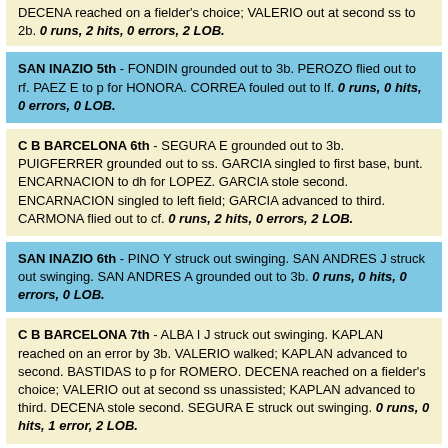DECENA reached on a fielder's choice; VALERIO out at second ss to 2b. 0 runs, 2 hits, 0 errors, 2 LOB.
SAN INAZIO 5th - FONDIN grounded out to 3b. PEROZO flied out to rf. PAEZ E to p for HONORA. CORREA fouled out to lf. 0 runs, 0 hits, 0 errors, 0 LOB.
C B BARCELONA 6th - SEGURA E grounded out to 3b. PUIGFERRER grounded out to ss. GARCIA singled to first base, bunt. ENCARNACION to dh for LOPEZ. GARCIA stole second. ENCARNACION singled to left field; GARCIA advanced to third. CARMONA flied out to cf. 0 runs, 2 hits, 0 errors, 2 LOB.
SAN INAZIO 6th - PINO Y struck out swinging. SAN ANDRES J struck out swinging. SAN ANDRES A grounded out to 3b. 0 runs, 0 hits, 0 errors, 0 LOB.
C B BARCELONA 7th - ALBA I J struck out swinging. KAPLAN reached on an error by 3b. VALERIO walked; KAPLAN advanced to second. BASTIDAS to p for ROMERO. DECENA reached on a fielder's choice; VALERIO out at second ss unassisted; KAPLAN advanced to third. DECENA stole second. SEGURA E struck out swinging. 0 runs, 0 hits, 1 error, 2 LOB.
SAN INAZIO 7th - RUBIO A grounded out to ss. LUGO pinch hit for